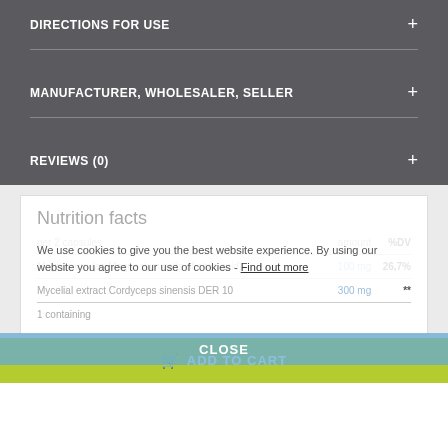DIRECTIONS FOR USE
MANUFACTURER, WHOLESALER, SELLER
REVIEWS (0)
Nutrition facts
We use cookies to give you the best website experience. By using our website you agree to our use of cookies - Find out more
| per 2 capsules | amount | %DV |
| --- | --- | --- |
| Magnesium (as Magnesium salts of citric acid) | 100 mg | 26,7% |
| Mycelial extract Cordyceps sinensis DER 10 | 300 mg | ** |
| 1 containing |  |  |
CLOSE
ADD TO CART